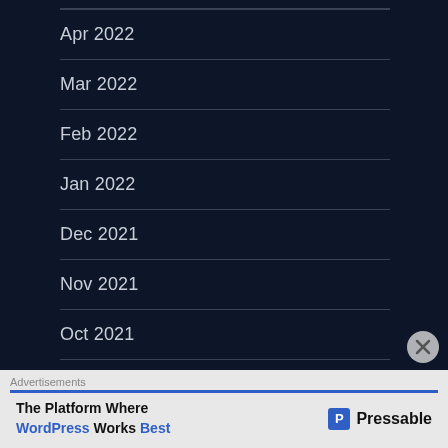Apr 2022
Mar 2022
Feb 2022
Jan 2022
Dec 2021
Nov 2021
Oct 2021
Sep 2021
Aug 2021
Advertisements
The Platform Where WordPress Works Best   Pressable